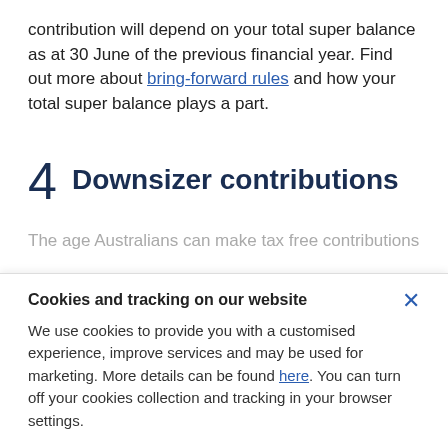contribution will depend on your total super balance as at 30 June of the previous financial year. Find out more about bring-forward rules and how your total super balance plays a part.
4  Downsizer contributions
The age Australians can make tax free contributions to
Cookies and tracking on our website
We use cookies to provide you with a customised experience, improve services and may be used for marketing. More details can be found here. You can turn off your cookies collection and tracking in your browser settings.